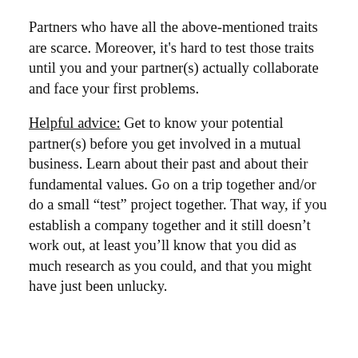Partners who have all the above-mentioned traits are scarce. Moreover, it's hard to test those traits until you and your partner(s) actually collaborate and face your first problems.
Helpful advice: Get to know your potential partner(s) before you get involved in a mutual business. Learn about their past and about their fundamental values. Go on a trip together and/or do a small “test” project together. That way, if you establish a company together and it still doesn’t work out, at least you’ll know that you did as much research as you could, and that you might have just been unlucky.